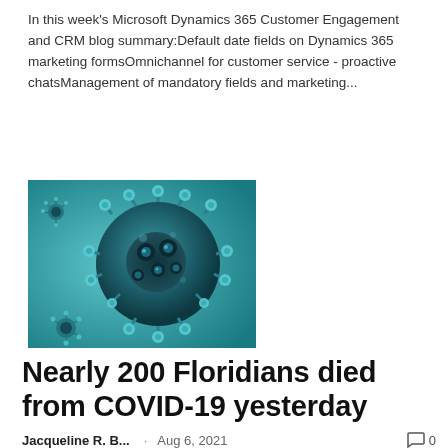In this week's Microsoft Dynamics 365 Customer Engagement and CRM blog summary:Default date fields on Dynamics 365 marketing formsOmnichannel for customer service - proactive chatsManagement of mandatory fields and marketing...
[Figure (photo): 3D rendering of a coronavirus / SARS-CoV-2 virus particle on a teal/turquoise background, showing the characteristic spike proteins on the surface]
Nearly 200 Floridians died from COVID-19 yesterday
Jacqueline R. B...   Aug 6, 2021   0
...
[Figure (photo): Partial view of a person's face, bottom portion of page]